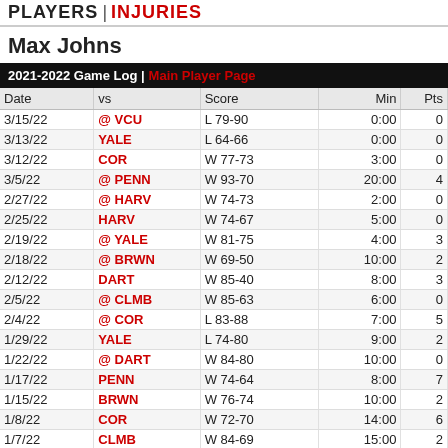PLAYERS | INJURIES
Max Johns
2021-2022 Game Log | Main Player Page
| Date | vs | Score | Min | Pts |
| --- | --- | --- | --- | --- |
| 3/15/22 | @ VCU | L 79-90 | 0:00 | 0 |
| 3/13/22 | YALE | L 64-66 | 0:00 | 0 |
| 3/12/22 | COR | W 77-73 | 3:00 | 0 |
| 3/5/22 | @ PENN | W 93-70 | 20:00 | 4 |
| 2/27/22 | @ HARV | W 74-73 | 2:00 | 0 |
| 2/25/22 | HARV | W 74-67 | 5:00 | 0 |
| 2/19/22 | @ YALE | W 81-75 | 4:00 | 3 |
| 2/18/22 | @ BRWN | W 69-50 | 10:00 | 2 |
| 2/12/22 | DART | W 85-40 | 8:00 | 3 |
| 2/5/22 | @ CLMB | W 85-63 | 6:00 | 0 |
| 2/4/22 | @ COR | L 83-88 | 7:00 | 5 |
| 1/29/22 | YALE | L 74-80 | 9:00 | 2 |
| 1/22/22 | @ DART | W 84-80 | 10:00 | 0 |
| 1/17/22 | PENN | W 74-64 | 8:00 | 7 |
| 1/15/22 | BRWN | W 76-74 | 10:00 | 2 |
| 1/8/22 | COR | W 72-70 | 14:00 | 6 |
| 1/7/22 | CLMB | W 84-69 | 15:00 | 2 |
| 12/21/21 | KEANU | W 100-59 | 13:00 | 13 |
| 12/13/21 | UMBC | W 89-77 | 4:00 | 0 |
| 12/11/21 | @ LAF | W 84-73 | 14:00 | 7 |
| 12/7/21 | BUCK | W 82-69 | 10:00 | 4 |